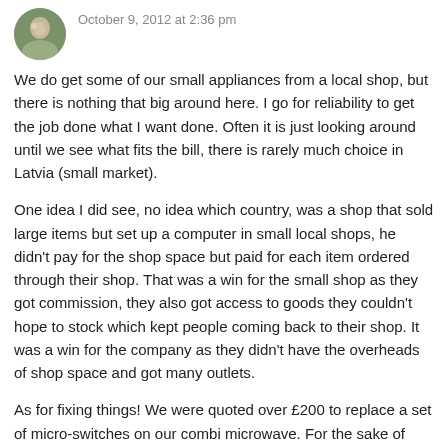October 9, 2012 at 2:36 pm
We do get some of our small appliances from a local shop, but there is nothing that big around here. I go for reliability to get the job done what I want done. Often it is just looking around until we see what fits the bill, there is rarely much choice in Latvia (small market).
One idea I did see, no idea which country, was a shop that sold large items but set up a computer in small local shops, he didn't pay for the shop space but paid for each item ordered through their shop. That was a win for the small shop as they got commission, they also got access to goods they couldn't hope to stock which kept people coming back to their shop. It was a win for the company as they didn't have the overheads of shop space and got many outlets.
As for fixing things! We were quoted over £200 to replace a set of micro-switches on our combi microwave. For the sake of these switches we are replacing it with a new one, because the microwave is so old it is not worth spending that much on.